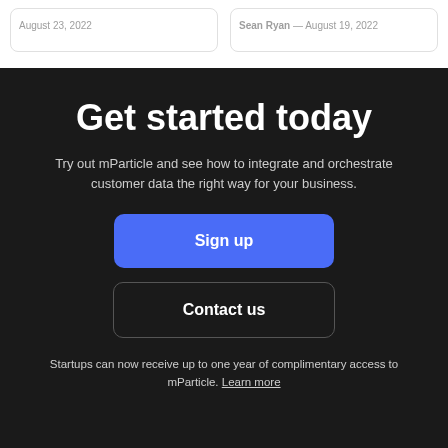August 23, 2022
Sean Ryan — August 19, 2022
Get started today
Try out mParticle and see how to integrate and orchestrate customer data the right way for your business.
Sign up
Contact us
Startups can now receive up to one year of complimentary access to mParticle. Learn more